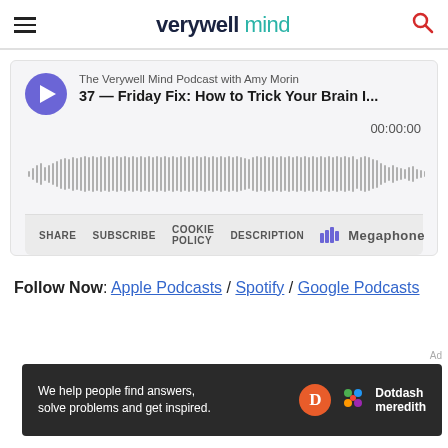verywell mind
[Figure (screenshot): Megaphone podcast player embed showing episode 37 - Friday Fix: How to Trick Your Brain I... from The Verywell Mind Podcast with Amy Morin. Shows waveform visualization, time 00:00:00, with SHARE, SUBSCRIBE, COOKIE POLICY, DESCRIPTION controls and Megaphone branding.]
Follow Now: Apple Podcasts / Spotify / Google Podcasts
[Figure (other): Dotdash Meredith advertisement banner: We help people find answers, solve problems and get inspired.]